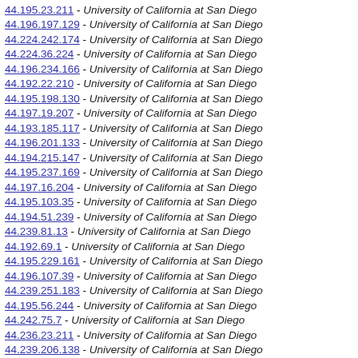44.195.23.211 - University of California at San Diego
44.196.197.129 - University of California at San Diego
44.224.242.174 - University of California at San Diego
44.224.36.224 - University of California at San Diego
44.196.234.166 - University of California at San Diego
44.192.22.210 - University of California at San Diego
44.195.198.130 - University of California at San Diego
44.197.19.207 - University of California at San Diego
44.193.185.117 - University of California at San Diego
44.196.201.133 - University of California at San Diego
44.194.215.147 - University of California at San Diego
44.195.237.169 - University of California at San Diego
44.197.16.204 - University of California at San Diego
44.195.103.35 - University of California at San Diego
44.194.51.239 - University of California at San Diego
44.239.81.13 - University of California at San Diego
44.192.69.1 - University of California at San Diego
44.195.229.161 - University of California at San Diego
44.196.107.39 - University of California at San Diego
44.239.251.183 - University of California at San Diego
44.195.56.244 - University of California at San Diego
44.242.75.7 - University of California at San Diego
44.236.23.211 - University of California at San Diego
44.239.206.138 - University of California at San Diego
44.239.224.156 - University of California at San Diego
44.194.50.238 - University of California at San Diego
44.195.156.88 - University of California at San Diego
44.195.190.122 - University of California at San Diego
44.195.154.86 - University of California at San Diego
44.195.97.29 - University of California at San Diego